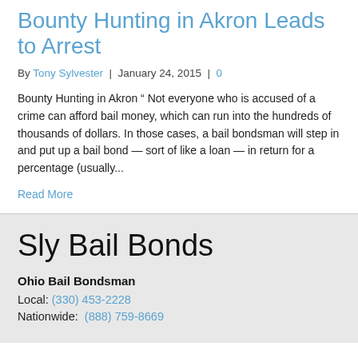Bounty Hunting in Akron Leads to Arrest
By Tony Sylvester  |  January 24, 2015  |  0
Bounty Hunting in Akron “ Not everyone who is accused of a crime can afford bail money, which can run into the hundreds of thousands of dollars. In those cases, a bail bondsman will step in and put up a bail bond — sort of like a loan — in return for a percentage (usually...
Read More
Sly Bail Bonds
Ohio Bail Bondsman
Local: (330) 453-2228
Nationwide: (888) 759-8669